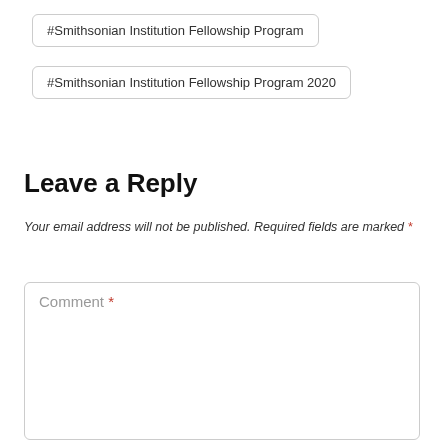#Smithsonian Institution Fellowship Program
#Smithsonian Institution Fellowship Program 2020
Leave a Reply
Your email address will not be published. Required fields are marked *
Comment *